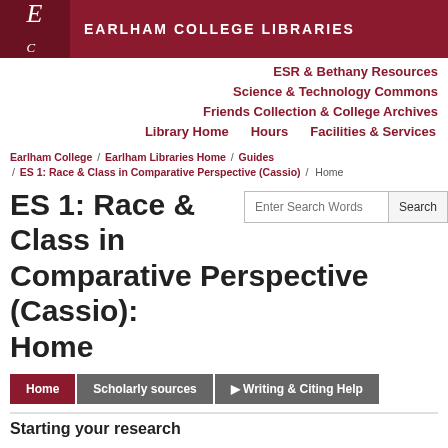[Figure (logo): Earlham College Libraries logo with EC monogram and college name in white on dark red banner]
ESR & Bethany Resources
Science & Technology Commons
Friends Collection & College Archives
Library Home   Hours   Facilities & Services
Earlham College / Earlham Libraries Home / Guides / ES 1: Race & Class in Comparative Perspective (Cassio) / Home
ES 1: Race & Class in Comparative Perspective (Cassio): Home
Enter Search Words  Search
Home
Scholarly sources
Writing & Citing Help
Starting your research